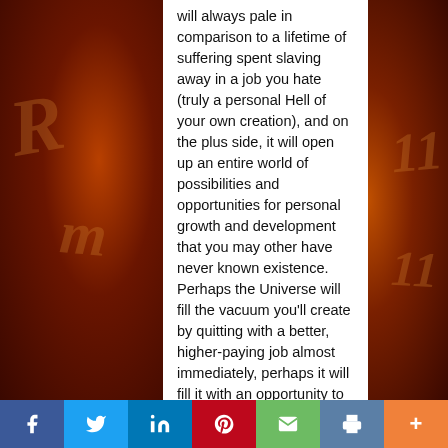will always pale in comparison to a lifetime of suffering spent slaving away in a job you hate (truly a personal Hell of your own creation), and on the plus side, it will open up an entire world of possibilities and opportunities for personal growth and development that you may other have never known existence. Perhaps the Universe will fill the vacuum you'll create by quitting with a better, higher-paying job almost immediately, perhaps it will fill it with an opportunity to start your own business, or perhaps it will fill it with a few months or years of
[Figure (other): Social sharing bar at bottom with icons for Facebook, Twitter, LinkedIn, Pinterest, Email, Print, and More]